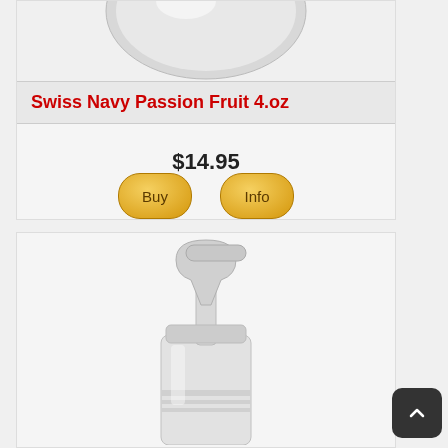[Figure (photo): Partial product image at top (cropped), showing the bottom of a product container]
Swiss Navy Passion Fruit 4.oz
$14.95
[Figure (other): Buy and Info buttons in gold/yellow oval shapes]
[Figure (photo): Product image - white/silver pump bottle dispenser, partially cropped]